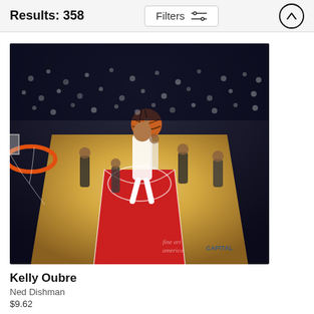Results: 358
Filters
[Figure (photo): Basketball action photo showing Kelly Oubre dunking in a Washington Wizards game, with other players visible on the court. Fine Art America watermark visible in bottom right.]
Kelly Oubre
Ned Dishman
$9.62